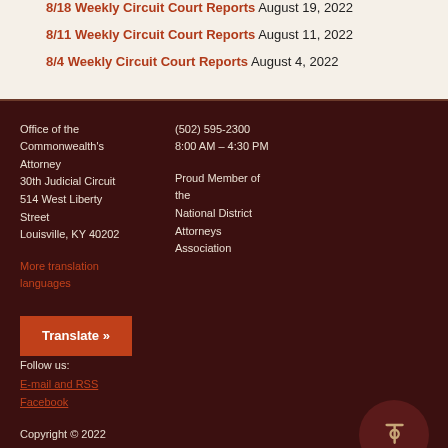8/18 Weekly Circuit Court Reports August 19, 2022
8/11 Weekly Circuit Court Reports August 11, 2022
8/4 Weekly Circuit Court Reports August 4, 2022
Office of the Commonwealth's Attorney
30th Judicial Circuit
514 West Liberty Street
Louisville, KY 40202
More translation languages
(502) 595-2300
8:00 AM – 4:30 PM

Proud Member of the National District Attorneys Association
Follow us:
E-mail and RSS
Facebook

Copyright © 2022 Thomas B. Wine. All Rights Reserved.
Translate »